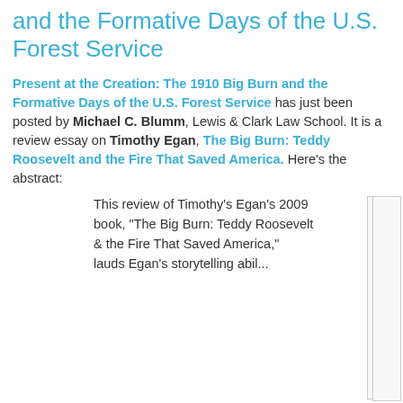and the Formative Days of the U.S. Forest Service
Present at the Creation: The 1910 Big Burn and the Formative Days of the U.S. Forest Service has just been posted by Michael C. Blumm, Lewis & Clark Law School. It is a review essay on Timothy Egan, The Big Burn: Teddy Roosevelt and the Fire That Saved America. Here's the abstract:
This review of Timothy's Egan's 2009 book, "The Big Burn: Teddy Roosevelt & the Fire That Saved America," lauds Egan's storytelling abil...
[Figure (photo): Broken/placeholder image thumbnail in the right portion of the page]